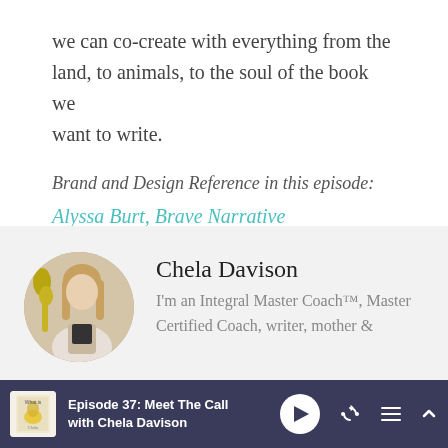we can co-create with everything from the land, to animals, to the soul of the book we want to write.
Brand and Design Reference in this episode:
Alyssa Burt, Brave Narrative
Chela Davison
I'm an Integral Master Coach™, Master Certified Coach, writer, mother &
Episode 37: Meet The Call with Chela Davison